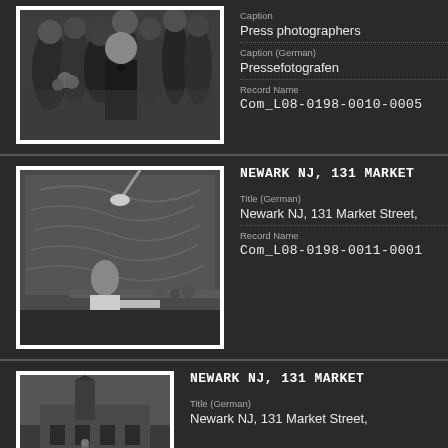[Figure (photo): Black and white photograph of press photographers, crowd scene with people in coats and a man in bow tie]
Caption
Press photographers
Caption (German)
Pressefotografen
Record Name
Com_L08-0198-0010-0005
[Figure (photo): Black and white photograph of a person working at a table in a studio with a large wall relief/sculpture behind them]
NEWARK NJ, 131 MARKET
Title (German)
Newark NJ, 131 Market Street,
Record Name
Com_L08-0198-0011-0001
[Figure (photo): Black and white photograph of a building with a church steeple or tower]
NEWARK NJ, 131 MARKET
Title (German)
Newark NJ, 131 Market Street,